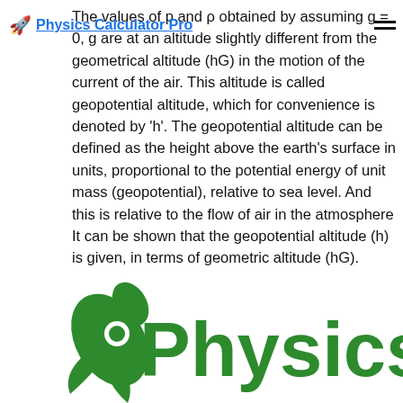🚀 Physics Calculator Pro
The values of p and ρ obtained by assuming g = 0, g are at an altitude slightly different from the geometrical altitude (hG) in the motion of the current of the air. This altitude is called geopotential altitude, which for convenience is denoted by 'h'. The geopotential altitude can be defined as the height above the earth's surface in units, proportional to the potential energy of unit mass (geopotential), relative to sea level. And this is relative to the flow of air in the atmosphere It can be shown that the geopotential altitude (h) is given, in terms of geometric altitude (hG).
[Figure (logo): Physics Calculator Pro logo with green rocket icon and green 'Physics' text]